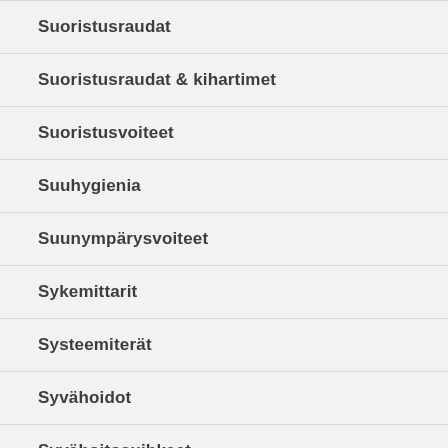Suoristusraudat
Suoristusraudat & kihartimet
Suoristusvoiteet
Suuhygienia
Suunympärysvoiteet
Sykemittarit
Systeemiterät
Syvähoidot
Syvähoitosuihkeet